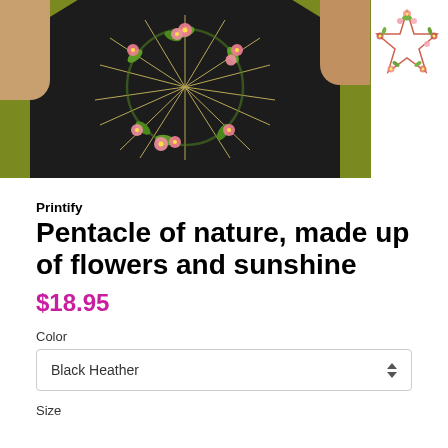[Figure (photo): A person wearing a black t-shirt with a floral pentacle design made of pink cherry blossoms and green leaves with golden sun rays, posed against a yellow-green background. In the upper right corner is a small logo of a floral pentacle star.]
Printify
Pentacle of nature, made up of flowers and sunshine
$18.95
Color
Black Heather
Size